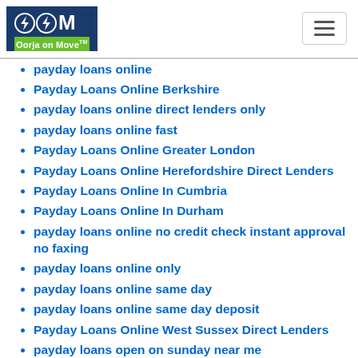Oorja on Move™
payday loans online
Payday Loans Online Berkshire
payday loans online direct lenders only
payday loans online fast
Payday Loans Online Greater London
Payday Loans Online Herefordshire Direct Lenders
Payday Loans Online In Cumbria
Payday Loans Online In Durham
payday loans online no credit check instant approval no faxing
payday loans online only
payday loans online same day
payday loans online same day deposit
Payday Loans Online West Sussex Direct Lenders
payday loans open on sunday near me